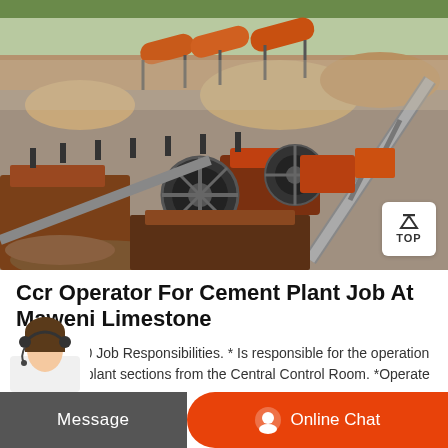[Figure (photo): Aerial view of a limestone/cement quarry plant with heavy industrial machinery, conveyor belts, crushers, orange cylindrical rotary kilns/drums in background, piles of crushed stone, dusty construction site.]
Ccr Operator For Cement Plant Job At Maweni Limestone
Jul 21, 2020 Job Responsibilities. * Is responsible for the operation of different plant sections from the Central Control Room. *Operate the
[Figure (photo): Customer service representative avatar - woman with headset, partially visible at bottom left corner]
Message
Online Chat